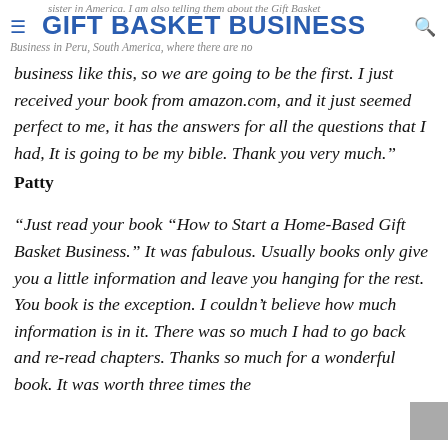GIFT BASKET BUSINESS
business like this, so we are going to be the first. I just received your book from amazon.com, and it just seemed perfect to me, it has the answers for all the questions that I had, It is going to be my bible. Thank you very much.”
Patty
“Just read your book “How to Start a Home-Based Gift Basket Business.” It was fabulous. Usually books only give you a little information and leave you hanging for the rest. You book is the exception. I couldn’t believe how much information is in it. There was so much I had to go back and re-read chapters. Thanks so much for a wonderful book. It was worth three times the